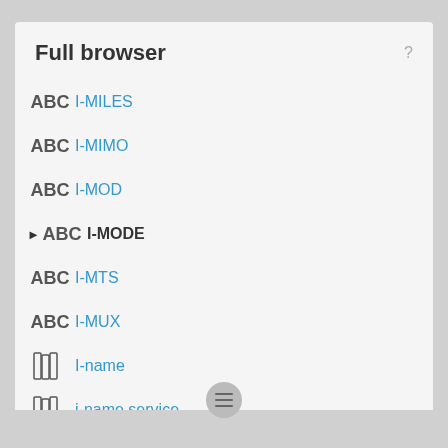Full browser
I-MILES
I-MIMO
I-MOD
I-MODE
I-MTS
I-MUX
I-name
i-name service